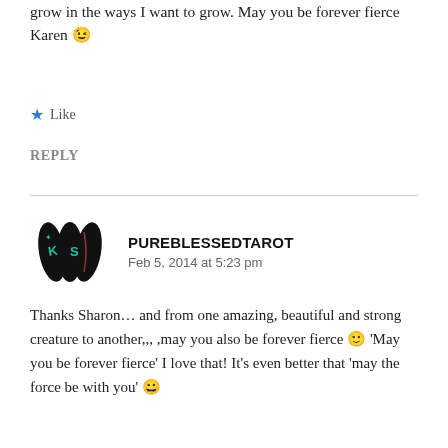grow in the ways I want to grow. May you be forever fierce Karen 😉
★ Like
REPLY
[Figure (logo): PureBlessedTarot logo: three black oval/leaf shapes with KS letters and decorative symbols in teal/green]
PUREBLESSEDTAROT
Feb 5, 2014 at 5:23 pm
Thanks Sharon… and from one amazing, beautiful and strong creature to another,,, ,may you also be forever fierce 🙂 'May you be forever fierce' I love that! It's even better that 'may the force be with you' 😀